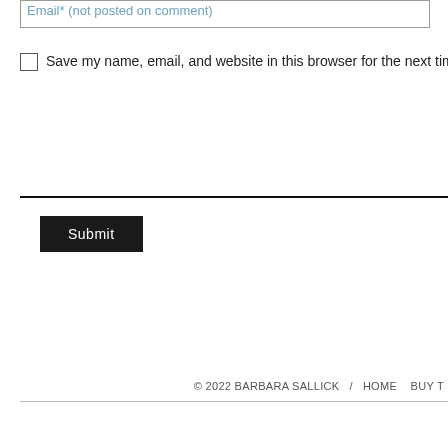Email* (not posted on comment)
Save my name, email, and website in this browser for the next time I comme
Submit
© 2022 BARBARA SALLICK / HOME BUY T